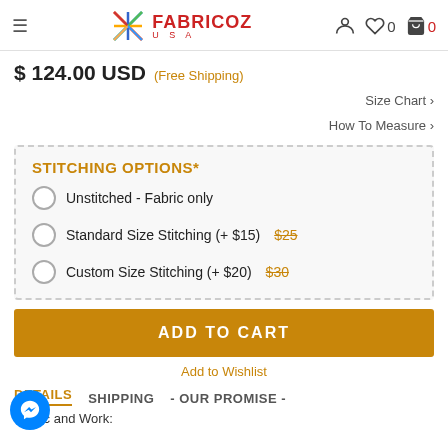FABRICOZ USA
$ 124.00 USD (Free Shipping)
Size Chart ›
How To Measure ›
STITCHING OPTIONS*
Unstitched - Fabric only
Standard Size Stitching (+ $15) $25
Custom Size Stitching (+ $20) $30
ADD TO CART
Add to Wishlist
DETAILS   SHIPPING   - OUR PROMISE -
Fabric and Work: